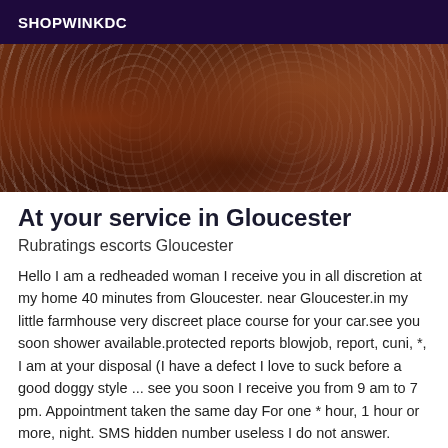SHOPWINKDC
[Figure (photo): A close-up photo showing fabric or clothing with brown and white dotted/patterned textile, partially obscuring a person.]
At your service in Gloucester
Rubratings escorts Gloucester
Hello I am a redheaded woman I receive you in all discretion at my home 40 minutes from Gloucester. near Gloucester.in my little farmhouse very discreet place course for your car.see you soon shower available.protected reports blowjob, report, cuni, *, I am at your disposal (I have a defect I love to suck before a good doggy style ... see you soon I receive you from 9 am to 7 pm. Appointment taken the same day For one * hour, 1 hour or more, night. SMS hidden number useless I do not answer.